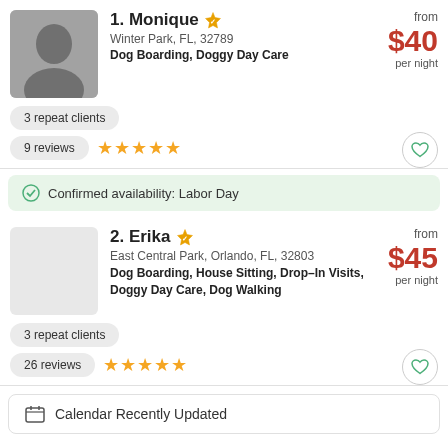1. Monique
Winter Park, FL, 32789
Dog Boarding, Doggy Day Care
from $40 per night
3 repeat clients
9 reviews ★★★★★
Confirmed availability: Labor Day
2. Erika
East Central Park, Orlando, FL, 32803
Dog Boarding, House Sitting, Drop–In Visits, Doggy Day Care, Dog Walking
from $45 per night
3 repeat clients
26 reviews ★★★★★
Calendar Recently Updated